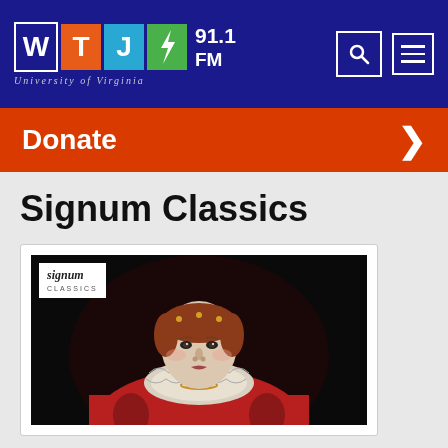[Figure (logo): WTJU 91.1 FM University of Virginia radio station logo with colored letter blocks (W=dark blue, T=orange, J=light blue, U=green) and search/menu icons on dark blue background]
Donate
Signum Classics
[Figure (photo): Album art for Signum Classics showing a portrait painting of Queen Elizabeth I in Elizabethan dress with ruff collar, red gown, on dark background. Signum Classics logo in upper left corner.]